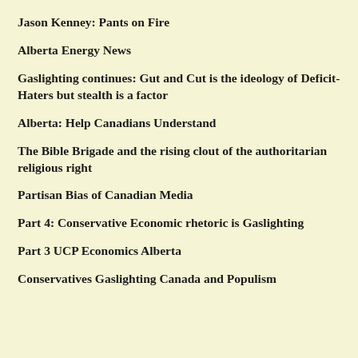Jason Kenney: Pants on Fire
Alberta Energy News
Gaslighting continues: Gut and Cut is the ideology of Deficit-Haters but stealth is a factor
Alberta: Help Canadians Understand
The Bible Brigade and the rising clout of the authoritarian religious right
Partisan Bias of Canadian Media
Part 4: Conservative Economic rhetoric is Gaslighting
Part 3 UCP Economics Alberta
Conservatives Gaslighting Canada and Populism